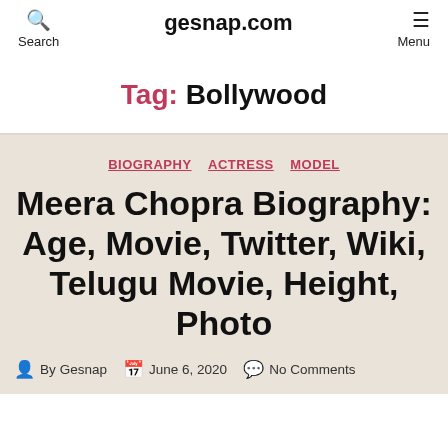Search  gesnap.com  Menu
Tag: Bollywood
BIOGRAPHY  ACTRESS  MODEL
Meera Chopra Biography: Age, Movie, Twitter, Wiki, Telugu Movie, Height, Photo
By Gesnap  June 6, 2020  No Comments